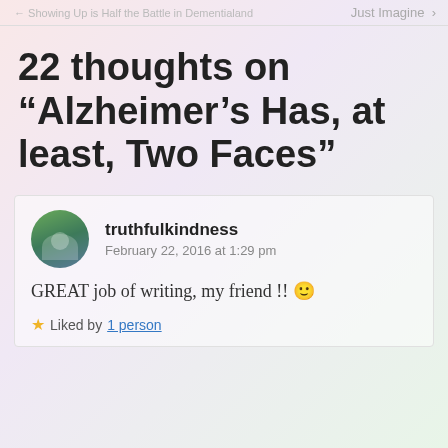Showing Up is Half the Battle in Dementialand   Just Imagine >
22 thoughts on “Alzheimer’s Has, at least, Two Faces”
truthfulkindness
February 22, 2016 at 1:29 pm
GREAT job of writing, my friend !! 😀
★ Liked by 1 person